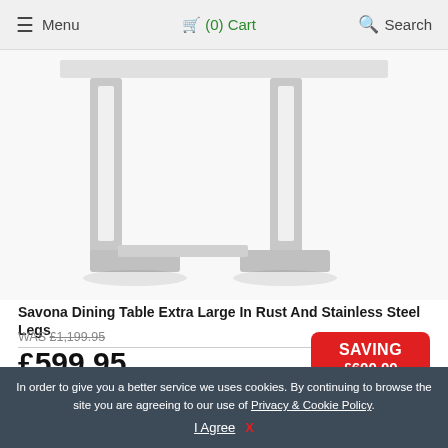≡ Menu   🛒 (0) Cart   🔍 Search
[Figure (photo): Product photo showing the underside/legs of the Savona dining table — two brushed stainless steel U-shaped legs visible against a white background.]
Savona Dining Table Extra Large In Rust And Stainless Steel Legs
WAS £1,199.95
£599.95
SAVING £600.00 TODAY
EXTRA 10% OFF SPEND £750 OR MORE
FREE DELIVERY MOST OF UK
In order to give you a better service we uses cookies. By continuing to browse the site you are agreeing to our use of Privacy & Cookie Policy.
I Agree   X